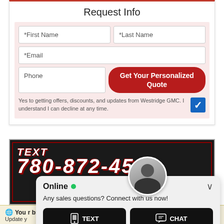Request Info
[Figure (screenshot): Web form with fields for First Name, Last Name, Email, Phone, and a red 'Get Your Personalized Quote' button. Consent checkbox (checked, blue) with text: Yes to getting offers, discounts, and updates from Westridge GMC. I understand I can decline at any time.]
[Figure (infographic): Dark banner with 'TEXT 780-872-4598' in bold white italic text with red shadow/outline]
[Figure (screenshot): Chat popup overlay with agent photo, 'Online' status with green dot, message 'Any sales questions? Connect with us now!', and two buttons: TEXT and CHAT]
You... date. Update y... eed and
Yes to getting offers, discounts, and updates from Westridge GMC. I understand I can decline at any time.
Online
Any sales questions? Connect with us now!